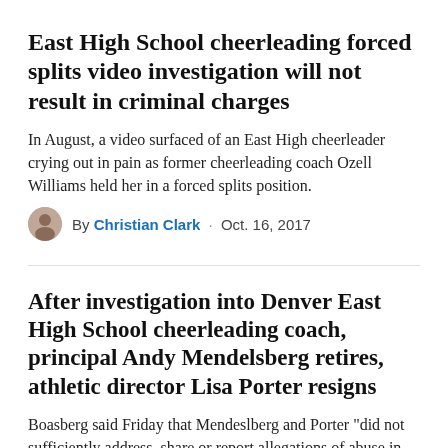East High School cheerleading forced splits video investigation will not result in criminal charges
In August, a video surfaced of an East High cheerleader crying out in pain as former cheerleading coach Ozell Williams held her in a forced splits position.
By Christian Clark · Oct. 16, 2017
After investigation into Denver East High School cheerleading coach, principal Andy Mendelsberg retires, athletic director Lisa Porter resigns
Boasberg said Friday that Mendeslberg and Porter "did not sufficiently address, share or report allegations of abuse in the contents of the videos."